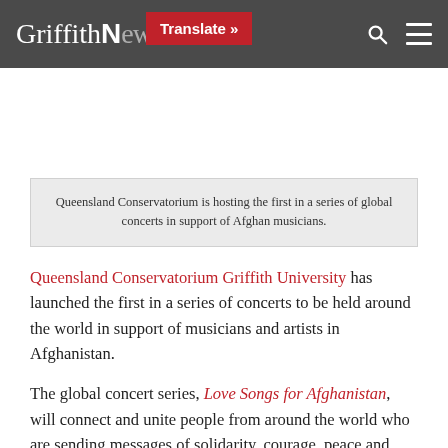Griffith News — Translate »
Queensland Conservatorium is hosting the first in a series of global concerts in support of Afghan musicians.
Queensland Conservatorium Griffith University has launched the first in a series of concerts to be held around the world in support of musicians and artists in Afghanistan.
The global concert series, Love Songs for Afghanistan, will connect and unite people from around the world who are sending messages of solidarity, courage, peace and love to